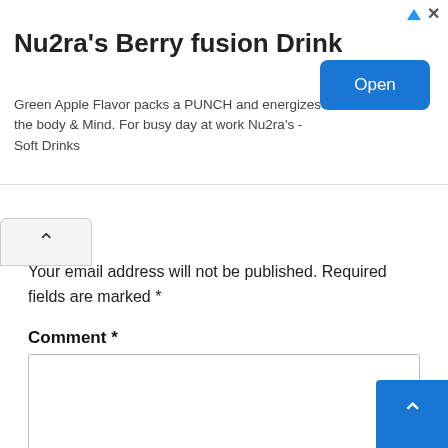[Figure (other): Advertisement banner for Nu2ra's Berry fusion Drink with an Open button]
Your email address will not be published. Required fields are marked *
Comment *
Name *
Email *